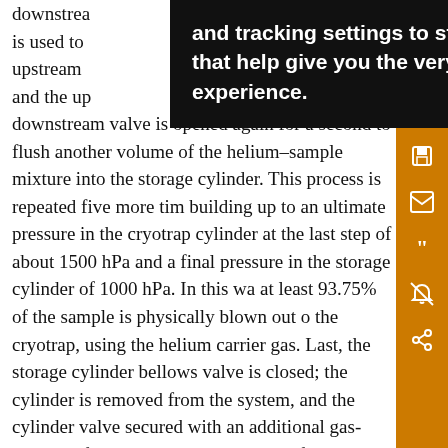downstream … helium is used to … the upstream … topped and the up… downstream valve is opened again for a second to flush another volume of the helium–sample mixture into the storage cylinder. This process is repeated five more times building up to an ultimate pressure in the cryotrap cylinder at the last step of about 1500 hPa and a final pressure in the storage cylinder of 1000 hPa. In this way, at least 93.75% of the sample is physically blown out of the cryotrap, using the helium carrier gas. Last, the storage cylinder bellows valve is closed; the cylinder is removed from the system, and the cylinder valve secured with an additional gas-tight cap for transport. At this point, after the sample storage is completed, the system is
[Figure (screenshot): Black tooltip/cookie consent overlay with white bold text reading: 'and tracking settings to store information that help give you the very best browsing experience.']